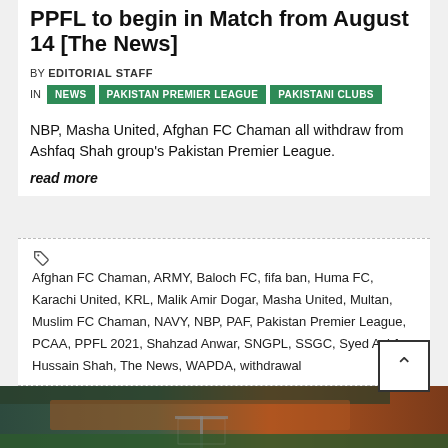PPFL to begin in Match from August 14 [The News]
BY EDITORIAL STAFF
IN NEWS PAKISTAN PREMIER LEAGUE PAKISTANI CLUBS
NBP, Masha United, Afghan FC Chaman all withdraw from Ashfaq Shah group's Pakistan Premier League.
read more
Afghan FC Chaman, ARMY, Baloch FC, fifa ban, Huma FC, Karachi United, KRL, Malik Amir Dogar, Masha United, Multan, Muslim FC Chaman, NAVY, NBP, PAF, Pakistan Premier League, PCAA, PPFL 2021, Shahzad Anwar, SNGPL, SSGC, Syed Ashfaq Hussain Shah, The News, WAPDA, withdrawal
[Figure (photo): Football stadium photo strip at bottom of page]